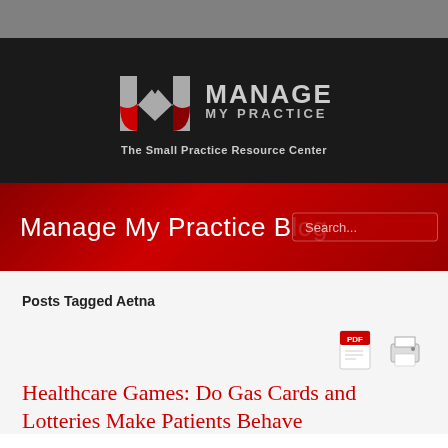[Figure (logo): Manage My Practice logo with stylized M icon in silver and red, with tagline 'The Small Practice Resource Center' on black background]
Manage My Practice Blog
Posts Tagged Aetna
[Figure (other): PDF download icon (red Adobe PDF icon)]
[Figure (other): Print icon (printer graphic)]
Healthcare Games: Do Gas Cards and Lotteries Make Patients Behave